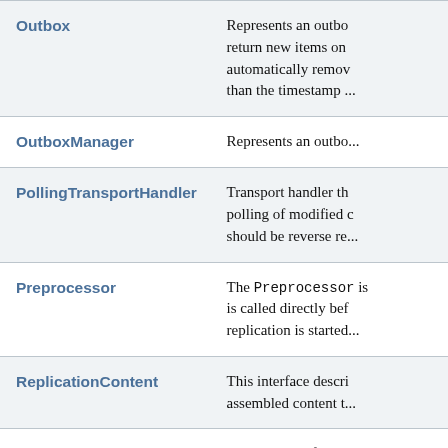| Class/Interface | Description |
| --- | --- |
| Outbox | Represents an outbo... return new items on... automatically remov... than the timestamp ... |
| OutboxManager | Represents an outbo... |
| PollingTransportHandler | Transport handler th... polling of modified c... should be reverse re... |
| Preprocessor | The Preprocessor is... is called directly bef... replication is started... |
| ReplicationContent | This interface descri... assembled content t... |
| ReplicationContentFactory | Implements a factor... replication content. |
| ReplicationContentFilter | Implementations of... ReplicationConten... indicate to ContentE... whether a given chi... |